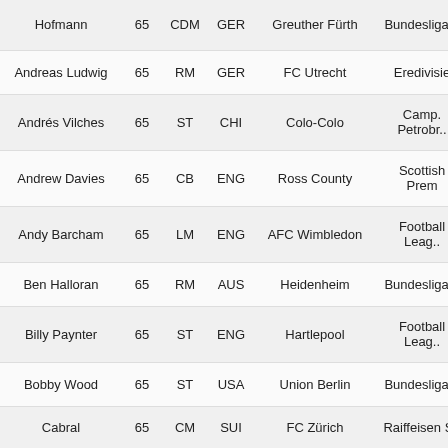| Name | Rating | Position | Nationality | Club | League |
| --- | --- | --- | --- | --- | --- |
| Hofmann | 65 | CDM | GER | Greuther Fürth | Bundesliga 2 |
| Andreas Ludwig | 65 | RM | GER | FC Utrecht | Eredivisie |
| Andrés Vilches | 65 | ST | CHI | Colo-Colo | Camp. Petrobr.. |
| Andrew Davies | 65 | CB | ENG | Ross County | Scottish Prem |
| Andy Barcham | 65 | LM | ENG | AFC Wimbledon | Football Leag.. |
| Ben Halloran | 65 | RM | AUS | Heidenheim | Bundesliga 2 |
| Billy Paynter | 65 | ST | ENG | Hartlepool | Football Leag.. |
| Bobby Wood | 65 | ST | USA | Union Berlin | Bundesliga 2 |
| Cabral | 65 | CM | SUI | FC Zürich | Raiffeisen SL |